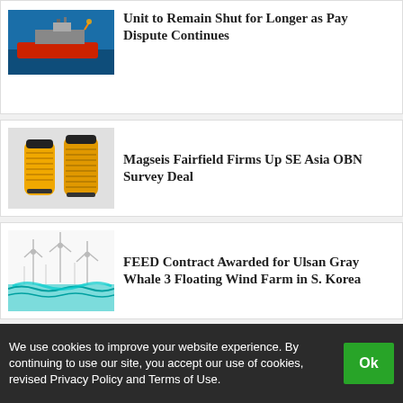[Figure (photo): FPSO vessel at sea with red hull]
Unit to Remain Shut for Longer as Pay Dispute Continues
[Figure (photo): Yellow seismic ocean-bottom nodes equipment]
Magseis Fairfield Firms Up SE Asia OBN Survey Deal
[Figure (illustration): Offshore floating wind turbines illustration with teal water]
FEED Contract Awarded for Ulsan Gray Whale 3 Floating Wind Farm in S. Korea
[Figure (photo): Offshore oil platform at sunset with golden light]
PTTEP Restarts Zawtika Gas Flows to Thailand After Pipeline Fixed
We use cookies to improve your website experience. By continuing to use our site, you accept our use of cookies, revised Privacy Policy and Terms of Use.